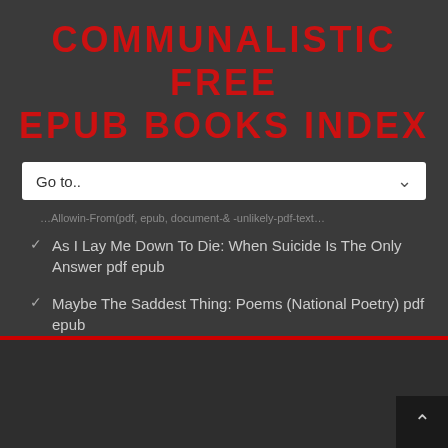COMMUNALISTIC FREE EPUB BOOKS INDEX
Go to..
…Allowin-From(pdf, epub, document-& -unlikely-pdf-text…
As I Lay Me Down To Die: When Suicide Is The Only Answer pdf epub
Maybe The Saddest Thing: Poems (National Poetry) pdf epub
Long Odds pdf
2022 © Copyright emanatively.duckdns.org. All rights reserved. Sitemap